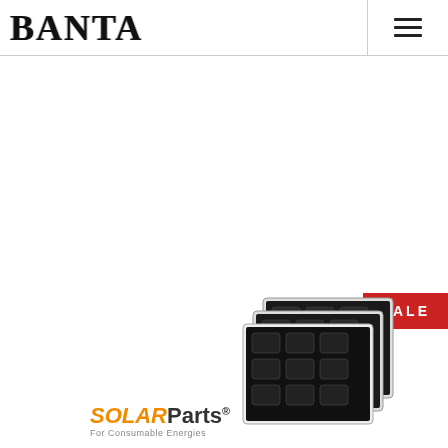BANTA
[Figure (logo): BANTA brand logo in distressed serif font, black text on white background]
[Figure (logo): SOLARParts logo with orange SOLAR and black Parts text, tagline 'For Consumable Energies']
[Figure (photo): Stack of solar panel cells/tabs product with SALE badge in red in top right corner]